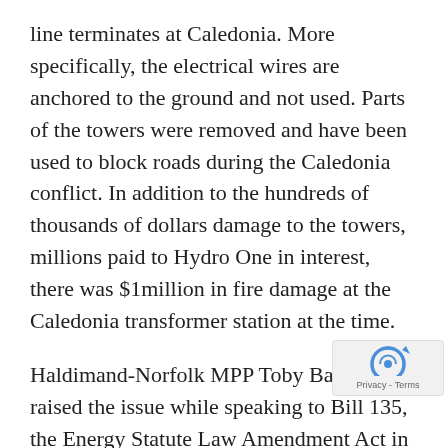line terminates at Caledonia. More specifically, the electrical wires are anchored to the ground and not used. Parts of the towers were removed and have been used to block roads during the Caledonia conflict. In addition to the hundreds of thousands of dollars damage to the towers, millions paid to Hydro One in interest, there was $1million in fire damage at the Caledonia transformer station at the time.
Haldimand-Norfolk MPP Toby Barrett raised the issue while speaking to Bill 135, the Energy Statute Law Amendment Act in the Legislature on Monday.
“In addition to the $100 million in capital cost